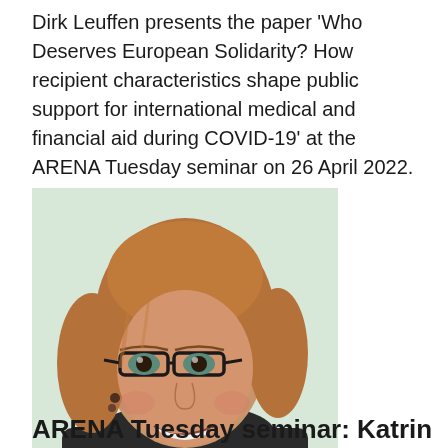Dirk Leuffen presents the paper 'Who Deserves European Solidarity? How recipient characteristics shape public support for international medical and financial aid during COVID-19' at the ARENA Tuesday seminar on 26 April 2022.
[Figure (photo): Headshot of a smiling woman with long reddish-blonde hair, black-rimmed glasses, and dangling earrings, wearing a dark jacket, against a light background.]
ARENA Tuesday seminar: Katrin